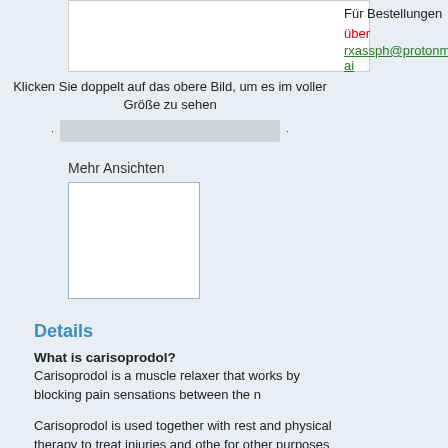[Figure (photo): White image placeholder box for product photo]
Klicken Sie doppelt auf das obere Bild, um es im voller Größe zu sehen
[Figure (other): Image slider/navigation bar with dots on either side]
Mehr Ansichten
[Figure (photo): Small thumbnail image box]
Für Bestellungen über
rxassph@protonmai
Details
What is carisoprodol?
Carisoprodol is a muscle relaxer that works by blocking pain sensations between the n
Carisoprodol is used together with rest and physical therapy to treat injuries and othe for other purposes not listed in this medication guide.
What is the most important information I should know about carisoprodol?
This medication may be habit-forming and should be used only by the person it was p person, especially someone who has a history of drug abuse or addiction. Keep the m may have withdrawal symptoms when you stop using carisoprodol after using it ov suddenly without first talking to your doctor. You may need to use less and less befo